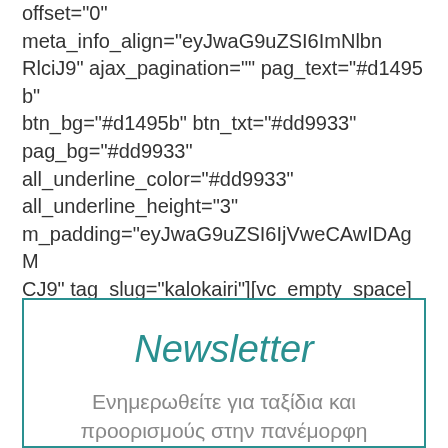offset="0" meta_info_align="eyJwaG9uZSI6ImNlbnRlciJ9" ajax_pagination="" pag_text="#d1495b" btn_bg="#d1495b" btn_txt="#dd9933" pag_bg="#dd9933" all_underline_color="#dd9933" all_underline_height="3" m_padding="eyJwaG9uZSI6IjVweCAwIDAgMCJ9" tag_slug="kalokairi"][vc_empty_space][/vc_column][/vc_row][/tdc_zone]
Newsletter
Ενημερωθείτε για ταξίδια και προορισμούς στην πανέμορφη